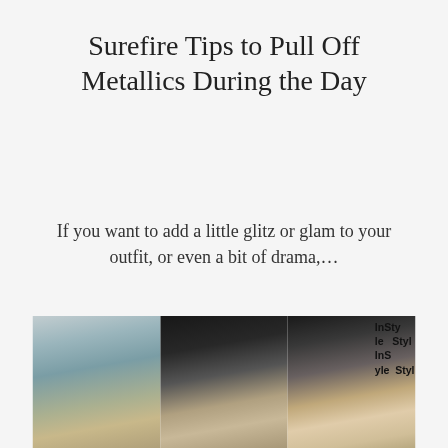Surefire Tips to Pull Off Metallics During the Day
If you want to add a little glitz or glam to your outfit, or even a bit of drama,…
Read More
[Figure (photo): Three women wearing metallic outfits at what appears to be an InStyle event; one in a blue-green top, one in a silver dress, and one in a sparkly top in front of InStyle signage.]